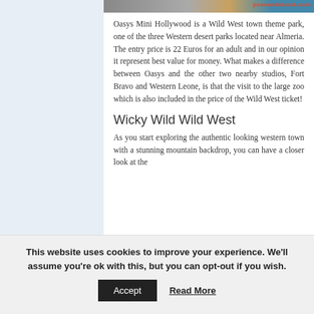[Figure (photo): Partial image strip at top of content area showing a Western/desert scene with text overlay reading 'pesoandalucia.com']
Oasys Mini Hollywood is a Wild West town theme park, one of the three Western desert parks located near Almeria. The entry price is 22 Euros for an adult and in our opinion it represent best value for money. What makes a difference between Oasys and the other two nearby studios, Fort Bravo and Western Leone, is that the visit to the large zoo which is also included in the price of the Wild West ticket!
Wicky Wild Wild West
As you start exploring the authentic looking western town with a stunning mountain backdrop, you can have a closer look at the
This website uses cookies to improve your experience. We'll assume you're ok with this, but you can opt-out if you wish.
Accept
Read More